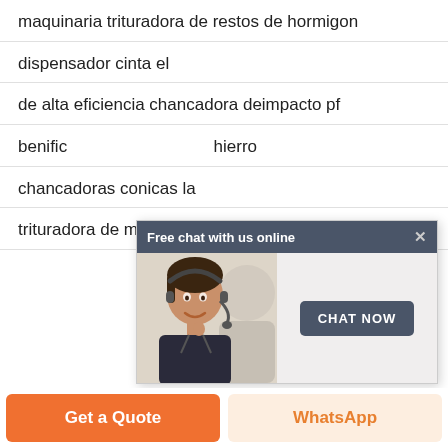maquinaria trituradora de restos de hormigon
dispensador cinta el
de alta eficiencia chancadora deimpacto pf
[Figure (screenshot): Chat popup overlay with 'Free chat with us online' header, photo of a woman with headset smiling, and a 'CHAT NOW' button]
benific... hierro
chancadoras conicas la
trituradora de mineral de trituración de carbón
Get a Quote
WhatsApp